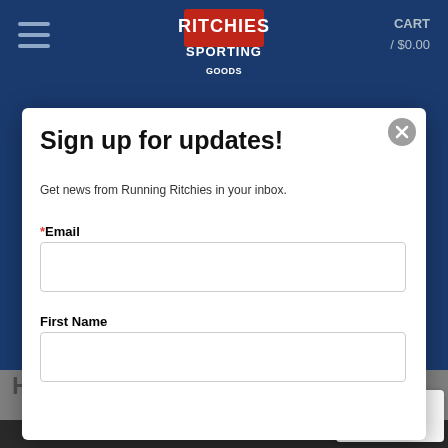CART / $0.00
[Figure (logo): Ritchies Sporting logo in red and white text on dark background]
Sign up for updates!
Get news from Running Ritchies in your inbox.
* Email
First Name